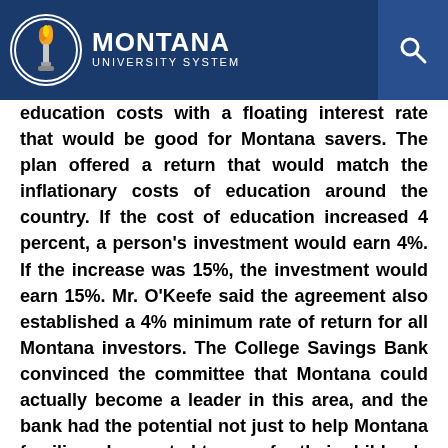MONTANA UNIVERSITY SYSTEM
education costs with a floating interest rate that would be good for Montana savers. The plan offered a return that would match the inflationary costs of education around the country. If the cost of education increased 4 percent, a person's investment would earn 4%. If the increase was 15%, the investment would earn 15%. Mr. O'Keefe said the agreement also established a 4% minimum rate of return for all Montana investors. The College Savings Bank convinced the committee that Montana could actually become a leader in this area, and the bank had the potential not just to help Montana families who wanted to save for their children's college education, but also to return money to the university system for scholarships.
Peter Roberts said he was the founder of College Savings Bank and the inventor of a certificate of deposit that was the only commercially available college cost repayment product in the nation. It was indexed to college costs and guaranteed to meet the future costs